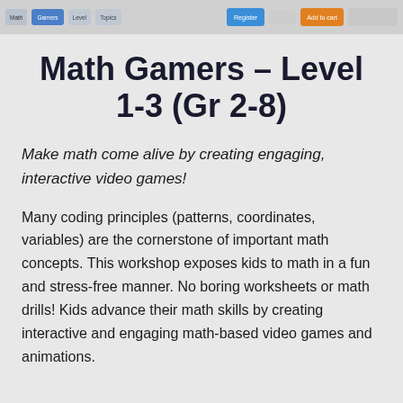Math Gamers navigation bar with pills/tabs
Math Gamers – Level 1-3 (Gr 2-8)
Make math come alive by creating engaging, interactive video games!
Many coding principles (patterns, coordinates, variables) are the cornerstone of important math concepts. This workshop exposes kids to math in a fun and stress-free manner. No boring worksheets or math drills! Kids advance their math skills by creating interactive and engaging math-based video games and animations.